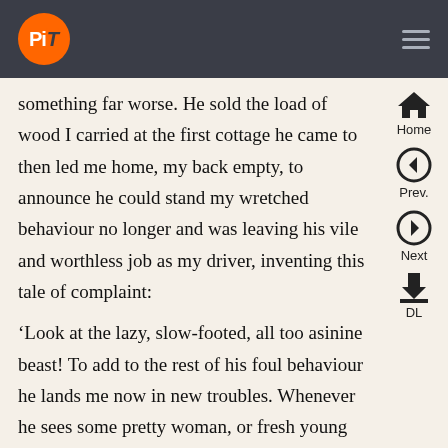PiT [logo] home/prev/next/DL navigation
something far worse. He sold the load of wood I carried at the first cottage he came to then led me home, my back empty, to announce he could stand my wretched behaviour no longer and was leaving his vile and worthless job as my driver, inventing this tale of complaint:
‘Look at the lazy, slow-footed, all too asinine beast! To add to the rest of his foul behaviour he lands me now in new troubles. Whenever he sees some pretty woman, or fresh young girl, or tender youth on the road ahead, he at once upsets his load, and even throws off his pack-saddle, so he